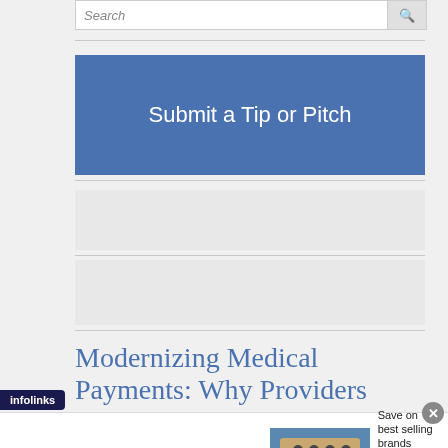[Figure (screenshot): Search input bar with search icon button at top of sidebar]
[Figure (screenshot): Blue 'Submit a Tip or Pitch' button]
Modernizing Medical Payments: Why Providers
[Figure (screenshot): Wayfair advertisement banner: Top Appliances Low Prices, Save on best selling brands that live up to the hype, Shop now button]